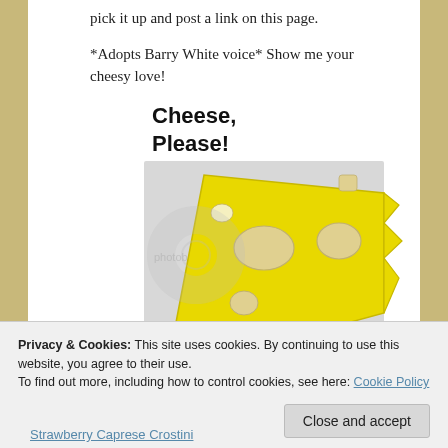pick it up and post a link on this page.
*Adopts Barry White voice* Show me your cheesy love!
[Figure (illustration): Cheese, Please! Cheese Recipe Blog Challenge badge with cartoon cheese wedge illustration and text 'fromagehomage.wordpress.com']
<div align="center"><a href='
Privacy & Cookies: This site uses cookies. By continuing to use this website, you agree to their use.
To find out more, including how to control cookies, see here: Cookie Policy
Close and accept
Strawberry Caprese Crostini